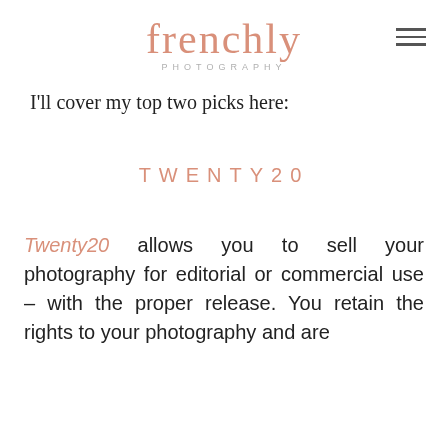frenchly PHOTOGRAPHY
I'll cover my top two picks here:
TWENTY20
Twenty20 allows you to sell your photography for editorial or commercial use – with the proper release. You retain the rights to your photography and are